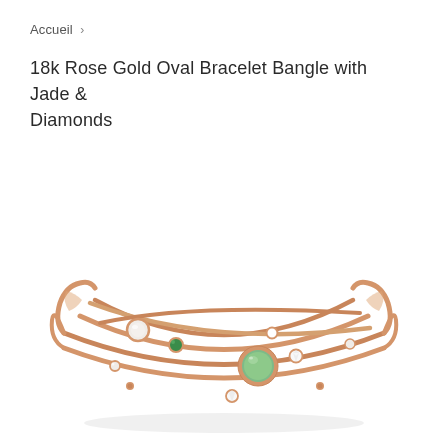Accueil  ›
18k Rose Gold Oval Bracelet Bangle with Jade & Diamonds
[Figure (photo): An 18k rose gold open cuff bracelet bangle photographed on a white background. The bangle features multiple curved gold bands with scattered gemstone settings including a large green jade cabochon in the center, small pearls, a green tsavorite, and round diamond accents.]